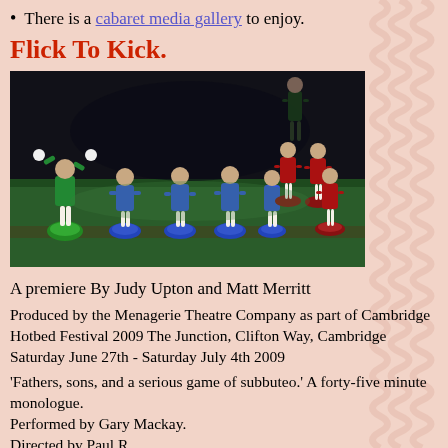There is a cabaret media gallery to enjoy.
Flick To Kick.
[Figure (photo): 3D rendered subbuteo (table football) figures on a green playing surface. Blue team figures and red team figures, with a green goalkeeper figure on the left with arms raised.]
A premiere By Judy Upton and Matt Merritt
Produced by the Menagerie Theatre Company as part of Cambridge Hotbed Festival 2009 The Junction, Clifton Way, Cambridge Saturday June 27th - Saturday July 4th 2009
'Fathers, sons, and a serious game of subbuteo.' A forty-five minute monologue.
Performed by Gary Mackay.
Directed by Paul R...